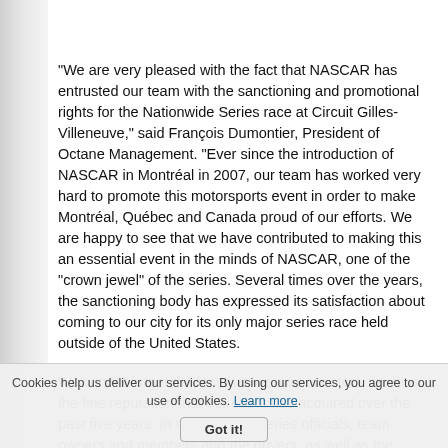"We are very pleased with the fact that NASCAR has entrusted our team with the sanctioning and promotional rights for the Nationwide Series race at Circuit Gilles-Villeneuve," said François Dumontier, President of Octane Management. "Ever since the introduction of NASCAR in Montréal in 2007, our team has worked very hard to promote this motorsports event in order to make Montréal, Québec and Canada proud of our efforts. We are happy to see that we have contributed to making this an essential event in the minds of NASCAR, one of the "crown jewel" of the series. Several times over the years, the sanctioning body has expressed its satisfaction about coming to our city for its only major series race held outside of the United States.
We cannot forget the fact that we owe our stock car fans the fine reputation that our event has acquired over the past five years. In the minds of series officials, team owners and members and the drivers, as well as the media attending our NASCAR event, Montréal is a major stop on the tour. We want to thank everyone for their support, and we want to assure them that we will be hard
Cookies help us deliver our services. By using our services, you agree to our use of cookies. Learn more. Got it!